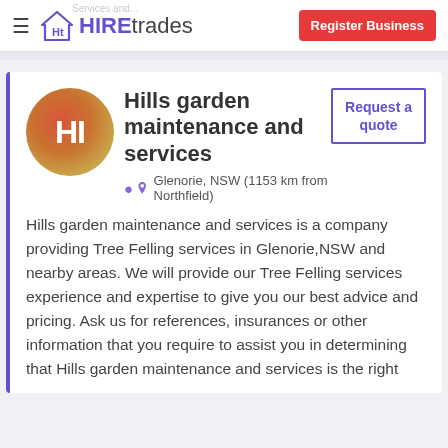Services and... | Ht HIREtrades | Register Business
Hills garden maintenance and services
Glenorie, NSW (1153 km from Northfield)
Request a quote
Hills garden maintenance and services is a company providing Tree Felling services in Glenorie,NSW and nearby areas. We will provide our Tree Felling services experience and expertise to give you our best advice and pricing. Ask us for references, insurances or other information that you require to assist you in determining that Hills garden maintenance and services is the right